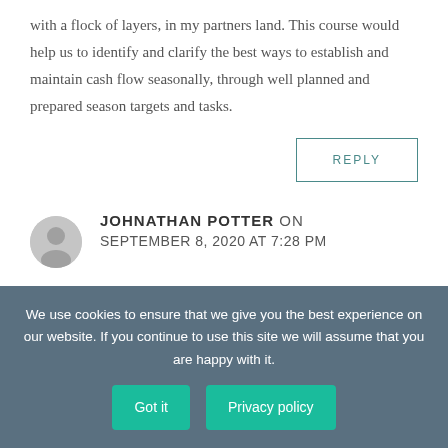with a flock of layers, in my partners land. This course would help us to identify and clarify the best ways to establish and maintain cash flow seasonally, through well planned and prepared season targets and tasks.
REPLY
JOHNATHAN POTTER ON SEPTEMBER 8, 2020 AT 7:28 PM
We use cookies to ensure that we give you the best experience on our website. If you continue to use this site we will assume that you are happy with it.